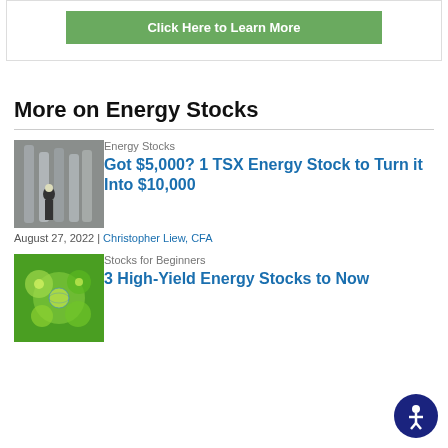[Figure (other): Green 'Click Here to Learn More' button inside a white bordered box]
More on Energy Stocks
[Figure (photo): Industrial facility photo with a person standing among large metal cylinders/tanks]
Energy Stocks
Got $5,000? 1 TSX Energy Stock to Turn it Into $10,000
August 27, 2022 | Christopher Liew, CFA
[Figure (photo): Green bubbles/spheres environmental themed photo]
Stocks for Beginners
3 High-Yield Energy Stocks to Now